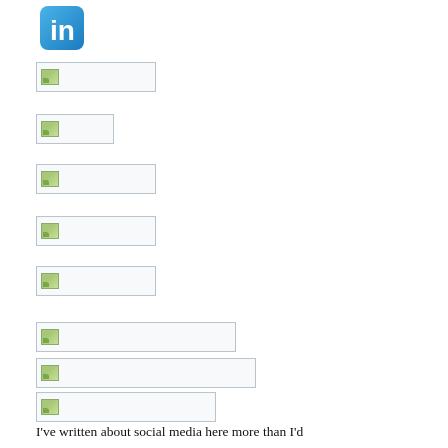[Figure (logo): LinkedIn logo icon (blue badge with 'in')]
[Figure (other): Broken image placeholder, small wide rectangle]
[Figure (other): Broken image placeholder, small square-ish]
[Figure (other): Broken image placeholder, small wide rectangle]
[Figure (other): Broken image placeholder, small wide rectangle]
[Figure (other): Broken image placeholder, small wide rectangle]
[Figure (other): Broken image placeholder, wider rectangle]
[Figure (other): Broken image placeholder, wider rectangle]
[Figure (other): Broken image placeholder, medium rectangle]
I've written about social media here more than I'd